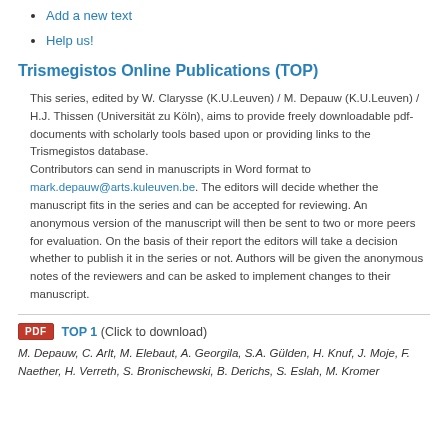Add a new text
Help us!
Trismegistos Online Publications (TOP)
This series, edited by W. Clarysse (K.U.Leuven) / M. Depauw (K.U.Leuven) / H.J. Thissen (Universität zu Köln), aims to provide freely downloadable pdf-documents with scholarly tools based upon or providing links to the Trismegistos database. Contributors can send in manuscripts in Word format to mark.depauw@arts.kuleuven.be. The editors will decide whether the manuscript fits in the series and can be accepted for reviewing. An anonymous version of the manuscript will then be sent to two or more peers for evaluation. On the basis of their report the editors will take a decision whether to publish it in the series or not. Authors will be given the anonymous notes of the reviewers and can be asked to implement changes to their manuscript.
TOP 1 (Click to download)
M. Depauw, C. Arlt, M. Elebaut, A. Georgila, S.A. Gülden, H. Knuf, J. Moje, F. Naether, H. Verreth, S. Bronischewski, B. Derichs, S. Eslah, M. Kromer